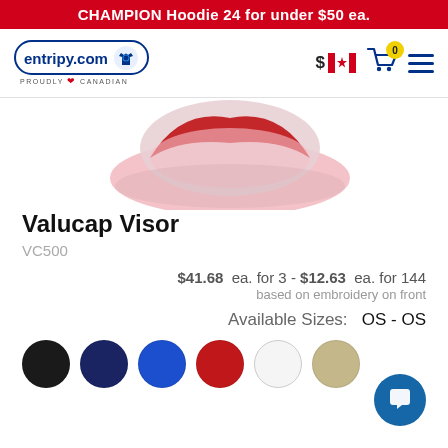CHAMPION Hoodie 24 for under $50 ea.
[Figure (screenshot): entripy.com logo with nav bar showing Canadian flag price selector, cart icon with 0 badge, and hamburger menu]
[Figure (photo): Valucap Visor product image showing a pink/red visor cap]
Valucap Visor
VC500
$41.68  ea. for 3 - $12.63  ea. for 144
based on embroidery on front
Available Sizes:   OS - OS
[Figure (illustration): Six color swatches: black, navy, royal blue, red, white, khaki/stone]